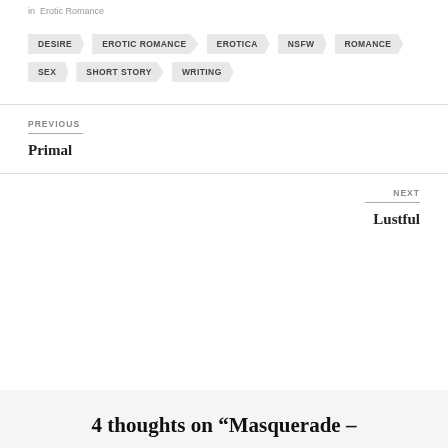in  Erotic Romance
DESIRE
EROTIC ROMANCE
EROTICA
NSFW
ROMANCE
SEX
SHORT STORY
WRITING
PREVIOUS
Primal
NEXT
Lustful
4 thoughts on “Masquerade –